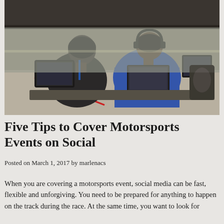[Figure (photo): Two people from behind sitting at a workstation with laptops and monitors, appearing to be in a broadcast or press box overlooking a motorsports track. One person wears a blue hoodie and headset, the other dark clothing. Equipment and screens visible.]
Five Tips to Cover Motorsports Events on Social
Posted on March 1, 2017 by marlenacs
When you are covering a motorsports event, social media can be fast, flexible and unforgiving. You need to be prepared for anything to happen on the track during the race. At the same time, you want to look for